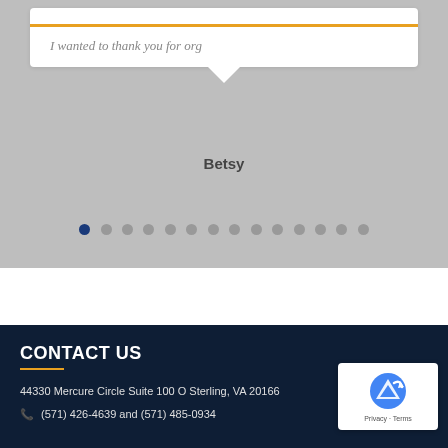[Figure (screenshot): Testimonial slider section with grayscale crowd photo background, white speech bubble containing italic text 'I wanted to thank you for org', orange horizontal bar, name 'Betsy' below, and carousel navigation dots]
I wanted to thank you for org
Betsy
CONTACT US
44330 Mercure Circle Suite 100 O Sterling, VA 20166
(571) 426-4639 and (571) 485-0934